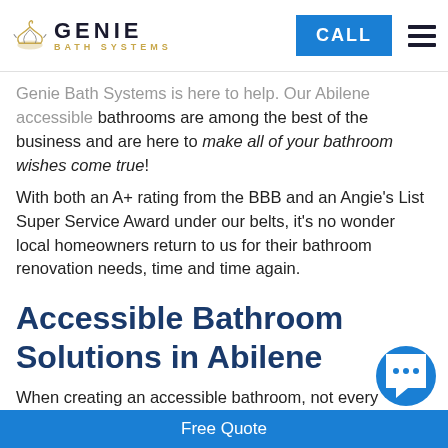GENIE BATH SYSTEMS | CALL
Genie Bath Systems is here to help. Our Abilene accessible bathrooms are among the best of the business and are here to make all of your bathroom wishes come true! With both an A+ rating from the BBB and an Angie's List Super Service Award under our belts, it's no wonder local homeowners return to us for their bathroom renovation needs, time and time again.
Accessible Bathroom Solutions in Abilene
When creating an accessible bathroom, not every homeowner in Abilene will have the same set of wants and requirements. That's why the expertly trained team of bathroom contractors at Genie Bath Systems will work closely with your fami...
Free Quote